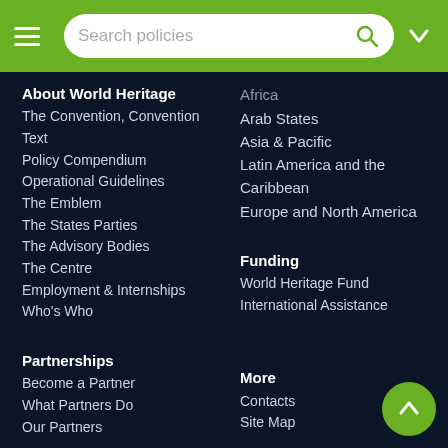Search policies
Africa
Arab States
Asia & Pacific
Latin America and the Caribbean
Europe and North America
About World Heritage
The Convention, Convention Text
Policy Compendium
Operational Guidelines
The Emblem
The States Parties
The Advisory Bodies
The Centre
Employment & Internships
Who's Who
Partnerships
Become a Partner
What Partners Do
Our Partners
Funding
World Heritage Fund
International Assistance
Activities
All our activities
More
Contacts
Site Map